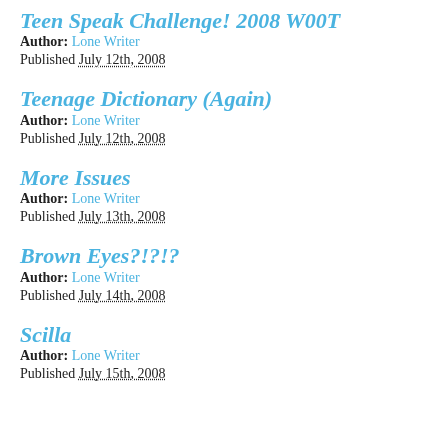Teen Speak Challenge! 2008 W00T
Author: Lone Writer
Published July 12th, 2008
Teenage Dictionary (Again)
Author: Lone Writer
Published July 12th, 2008
More Issues
Author: Lone Writer
Published July 13th, 2008
Brown Eyes?!?!?
Author: Lone Writer
Published July 14th, 2008
Scilla
Author: Lone Writer
Published July 15th, 2008